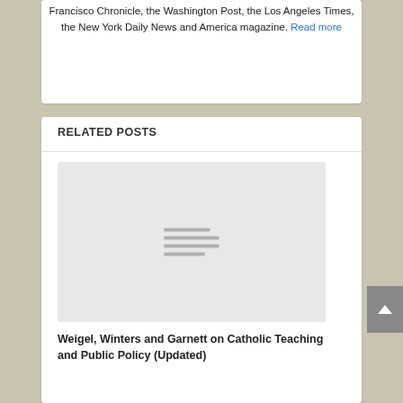Francisco Chronicle, the Washington Post, the Los Angeles Times, the New York Daily News and America magazine. Read more
RELATED POSTS
[Figure (other): Gray placeholder image with a document/lines icon in the center, representing a blog post thumbnail]
Weigel, Winters and Garnett on Catholic Teaching and Public Policy (Updated)